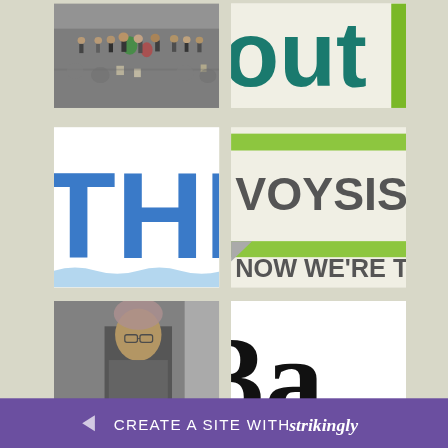[Figure (photo): Black and white photo of a crowd of people at what appears to be a conference or trade show.]
[Figure (logo): Partial text logo showing 'out' in dark teal/green color, cropped on right side.]
[Figure (logo): Partial blue text logo showing 'THI' cropped on right side, on white background.]
[Figure (logo): VOYSIS logo with lime green horizontal bars above and below, text 'NOW WE'RE TALK' partially visible at bottom.]
[Figure (photo): Photo of a person wearing glasses, partially visible, pixelated/blurry.]
[Figure (logo): Partial text showing '3a' or similar in large black bold font on white background, cropped.]
CREATE A SITE WITH strikingly